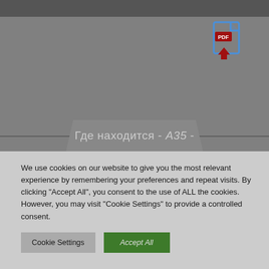[Figure (illustration): PDF download icon: a document outline in blue with 'PDF' text in red on the document, and a red downward arrow below it]
Где находится - A35 -
We use cookies on our website to give you the most relevant experience by remembering your preferences and repeat visits. By clicking “Accept All”, you consent to the use of ALL the cookies. However, you may visit "Cookie Settings" to provide a controlled consent.
Cookie Settings   Accept All